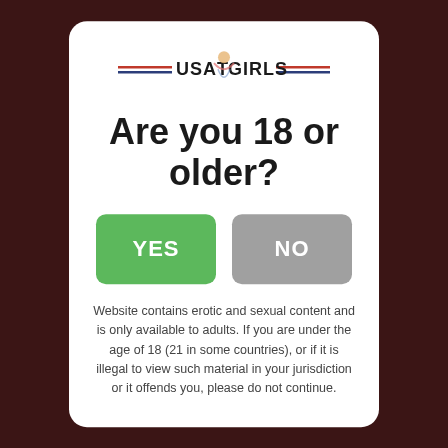[Figure (logo): USA TGirls logo with horizontal red and blue stripes and a figure]
Are you 18 or older?
YES
NO
Website contains erotic and sexual content and is only available to adults. If you are under the age of 18 (21 in some countries), or if it is illegal to view such material in your jurisdiction or it offends you, please do not continue.